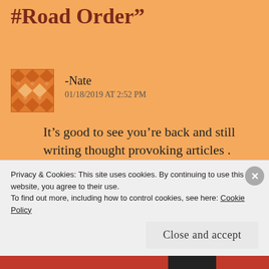#Road Order”
-Nate
01/18/2019 AT 2:52 PM
It’s good to see you’re back and still writing thought provoking articles .
When I was a young man, I usually had Sedans or Pickups (always short bed
Privacy & Cookies: This site uses cookies. By continuing to use this website, you agree to their use.
To find out more, including how to control cookies, see here: Cookie Policy
Close and accept